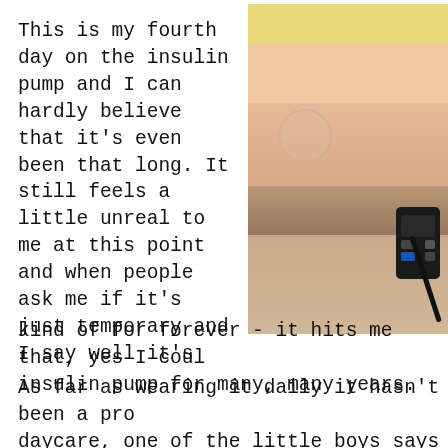This is my fourth day on the insulin pump and I can hardly believe that it's even been that long. It still feels a little unreal to me at this point and when people ask me if it's just temporary and I say well it's kind of for forever - it hits me that, yes I could be on this insulin pump for many, many years.
[Figure (photo): Close-up photo of a person's midsection wearing a pink patterned shirt with an insulin pump device attached, tubing visible on skin. Yellow pillow or clothing visible at top.]
As far as wearing it daily it hasn't been a problem. At daycare, one of the little boys says "K'na and really reminds me that I am no longer just "K with a pump - kind of like Barbie with all he